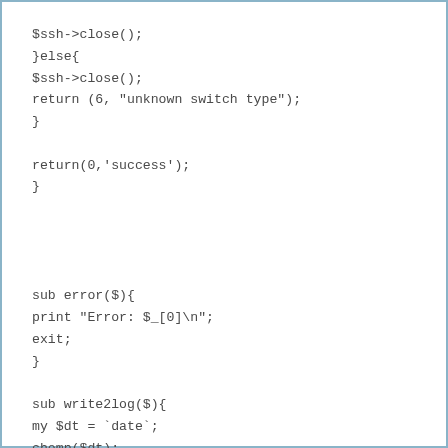$ssh->close();
}else{
$ssh->close();
return (6, "unknown switch type");
}

return(0,'success');
}



sub error($){
print "Error: $_[0]\n";
exit;
}

sub write2log($){
my $dt = `date`;
chomp($dt);